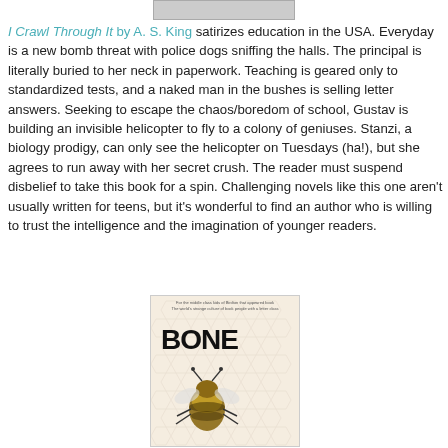[Figure (photo): Partial book cover image at top, cropped]
I Crawl Through It by A. S. King satirizes education in the USA. Everyday is a new bomb threat with police dogs sniffing the halls. The principal is literally buried to her neck in paperwork. Teaching is geared only to standardized tests, and a naked man in the bushes is selling letter answers. Seeking to escape the chaos/boredom of school, Gustav is building an invisible helicopter to fly to a colony of geniuses. Stanzi, a biology prodigy, can only see the helicopter on Tuesdays (ha!), but she agrees to run away with her secret crush. The reader must suspend disbelief to take this book for a spin. Challenging novels like this one aren't usually written for teens, but it's wonderful to find an author who is willing to trust the intelligence and the imagination of younger readers.
[Figure (photo): Book cover of 'Bone' featuring large text title and a bee illustration on a honeycomb background]